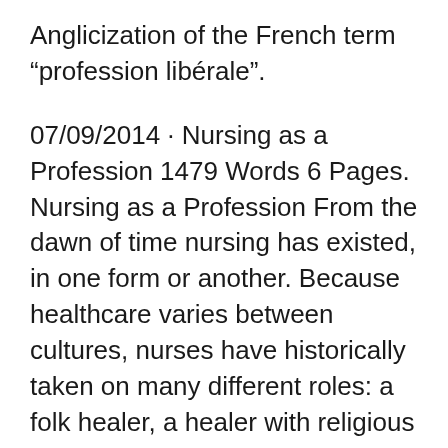Anglicization of the French term "profession libérale".
07/09/2014 · Nursing as a Profession 1479 Words 6 Pages. Nursing as a Profession From the dawn of time nursing has existed, in one form or another. Because healthcare varies between cultures, nurses have historically taken on many different roles: a folk healer, a healer with religious ties, and that of a servant (Ellis & Hartley, 2012). A labor and delivery nurse may aid in inducing labor, administering epidurals, timing contractions and educating new mothers with nursing advice after their baby is born. Oncology nurse: Oncology